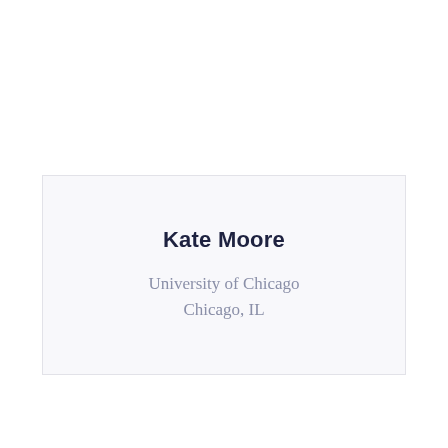Kate Moore
University of Chicago
Chicago, IL